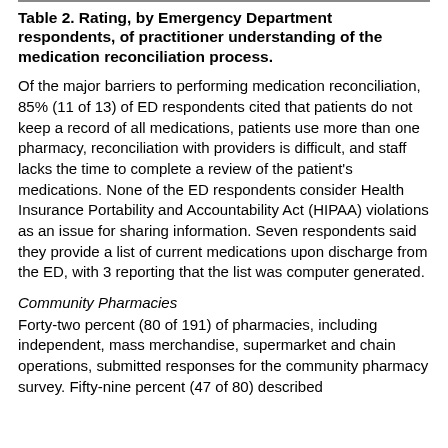Table 2. Rating, by Emergency Department respondents, of practitioner understanding of the medication reconciliation process.
Of the major barriers to performing medication reconciliation, 85% (11 of 13) of ED respondents cited that patients do not keep a record of all medications, patients use more than one pharmacy, reconciliation with providers is difficult, and staff lacks the time to complete a review of the patient’s medications. None of the ED respondents consider Health Insurance Portability and Accountability Act (HIPAA) violations as an issue for sharing information. Seven respondents said they provide a list of current medications upon discharge from the ED, with 3 reporting that the list was computer generated.
Community Pharmacies
Forty-two percent (80 of 191) of pharmacies, including independent, mass merchandise, supermarket and chain operations, submitted responses for the community pharmacy survey. Fifty-nine percent (47 of 80) described